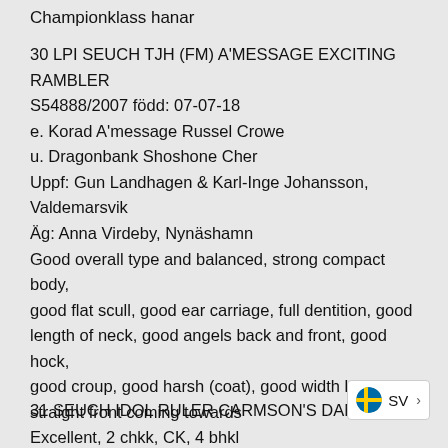Championklass hanar
30 LPI SEUCH TJH (FM) A'MESSAGE EXCITING RAMBLER
S54888/2007 född: 07-07-18
e. Korad A'message Russel Crowe
u. Dragonbank Shoshone Cher
Uppf: Gun Landhagen & Karl-Inge Johansson, Valdemarsvik
Äg: Anna Virdeby, Nynäshamn
Good overall type and balanced, strong compact body, good flat scull, good ear carriage, full dentition, good length of neck, good angels back and front, good hock, good croup, good harsh (coat), good width behind, straight front coming towards
Excellent, 2 chkk, CK, 4 bhkl
31 SEUCH IDOL RULER CARMSON'S DANT...